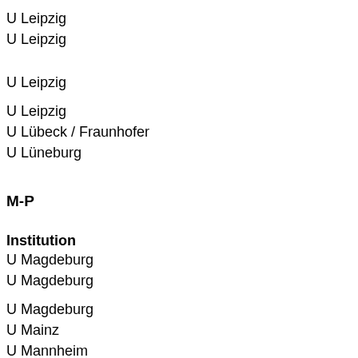U Leipzig
U Leipzig
U Leipzig
U Leipzig
U Lübeck / Fraunhofer
U Lüneburg
M-P
Institution
U Magdeburg
U Magdeburg
U Magdeburg
U Mainz
U Mannheim